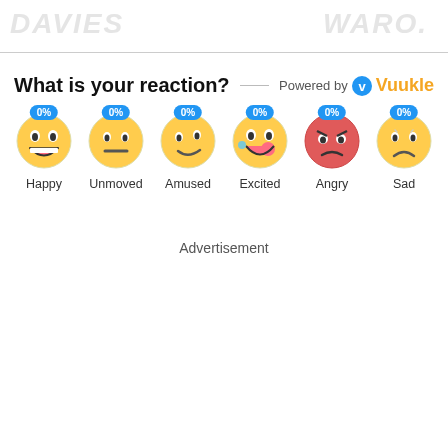DAVIES   WARO.
What is your reaction?
Powered by Vuukle
[Figure (infographic): Six emoji reaction buttons each showing 0%: Happy, Unmoved, Amused, Excited, Angry, Sad]
Advertisement